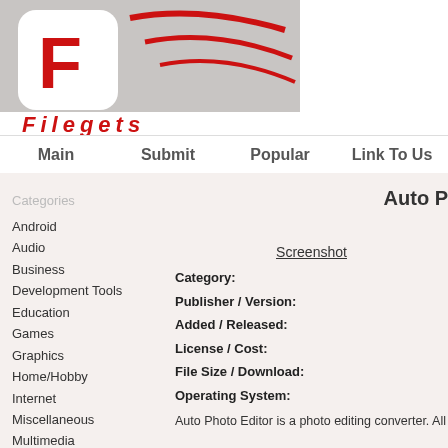[Figure (logo): Filegets logo with red F on white rounded square and red swoosh lines, with 'Filegets' text in red below on gray background]
Main  Submit  Popular  Link To Us
Categories
Android
Audio
Business
Development Tools
Education
Games
Graphics
Home/Hobby
Internet
Miscellaneous
Multimedia
Screen Savers
Security & Privacy
Utilities
Web Authoring
Auto P
Screenshot
Category:
Publisher / Version:
Added / Released:
License / Cost:
File Size / Download:
Operating System:
Auto Photo Editor is a photo editing converter. All